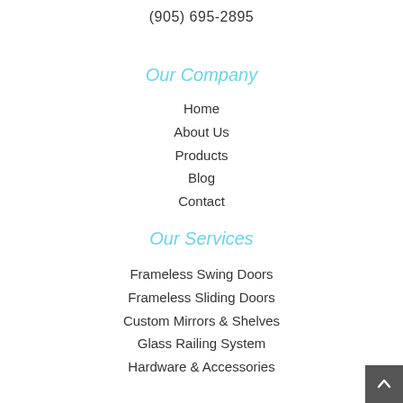(905) 695-2895
Our Company
Home
About Us
Products
Blog
Contact
Our Services
Frameless Swing Doors
Frameless Sliding Doors
Custom Mirrors & Shelves
Glass Railing System
Hardware & Accessories